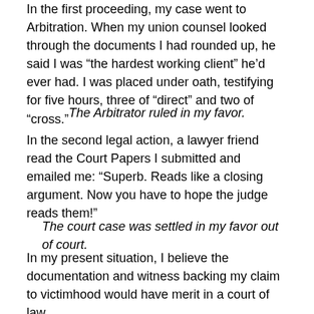In the first proceeding, my case went to Arbitration. When my union counsel looked through the documents I had rounded up, he said I was “the hardest working client” he’d ever had. I was placed under oath, testifying for five hours, three of “direct” and two of “cross.”
The Arbitrator ruled in my favor.
In the second legal action, a lawyer friend read the Court Papers I submitted and emailed me: “Superb. Reads like a closing argument. Now you have to hope the judge reads them!”
The court case was settled in my favor out of court.
In my present situation, I believe the documentation and witness backing my claim to victimhood would have merit in a court of law.